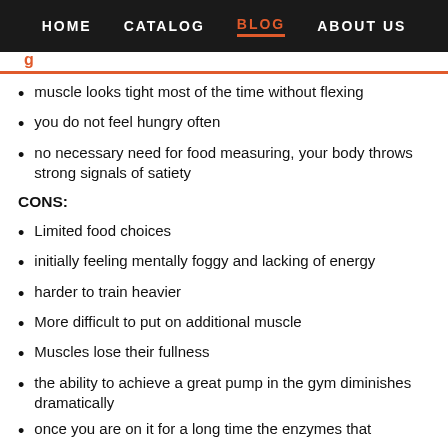HOME   CATALOG   BLOG   ABOUT US
muscle looks tight most of the time without flexing
you do not feel hungry often
no necessary need for food measuring, your body throws strong signals of satiety
CONS:
Limited food choices
initially feeling mentally foggy and lacking of energy
harder to train heavier
More difficult to put on additional muscle
Muscles lose their fullness
the ability to achieve a great pump in the gym diminishes dramatically
once you are on it for a long time the enzymes that